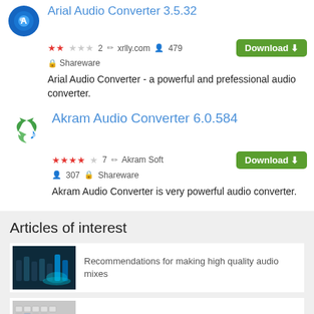Arial Audio Converter 3.5.32
★★☆☆☆ 2   xrlly.com   479   Shareware
Arial Audio Converter - a powerful and prefessional audio converter.
Akram Audio Converter 6.0.584
★★★★☆ 7   Akram Soft   307   Shareware
Akram Audio Converter is very powerful audio converter.
Articles of interest
Recommendations for making high quality audio mixes
Convert PDF to Word on Windows 10